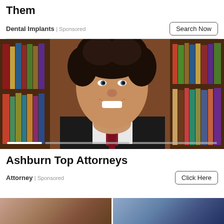Them
Dental Implants | Sponsored
Search Now
[Figure (photo): A smiling male attorney with curly dark hair wearing a dark suit and red tie, standing in front of a bookshelf filled with law books. Slider/carousel dots visible at the bottom of the image.]
Ashburn Top Attorneys
Attorney | Sponsored
Click Here
[Figure (photo): Bottom strip showing partial images of two additional advertisement thumbnails side by side.]